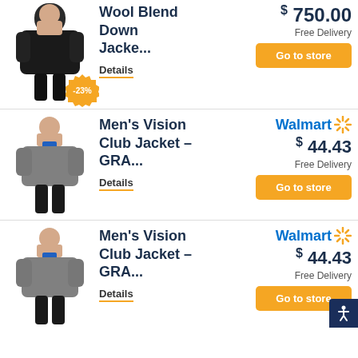[Figure (photo): Man wearing black wool blend down jacket with -23% discount badge]
Wool Blend Down Jacke...
Details
$ 750.00
Free Delivery
Go to store
[Figure (photo): Man wearing grey Men's Vision Club Jacket]
Men's Vision Club Jacket - GRA...
Details
Walmart
$ 44.43
Free Delivery
Go to store
[Figure (photo): Man wearing grey Men's Vision Club Jacket]
Men's Vision Club Jacket - GRA...
Details
Walmart
$ 44.43
Free Delivery
Go to store